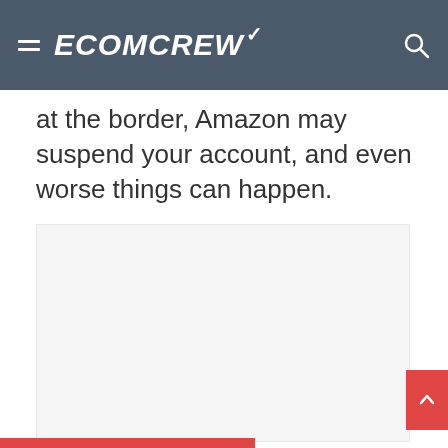ECOMCREW
at the border, Amazon may suspend your account, and even worse things can happen.
[Figure (other): Empty light gray placeholder image box for an advertisement or embedded content]